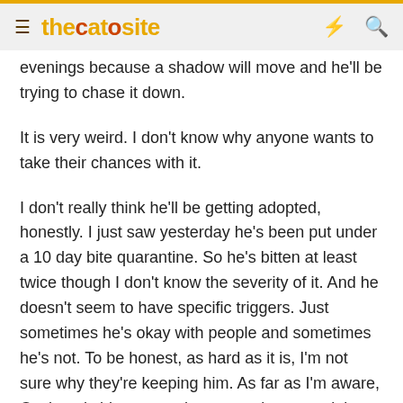thecatsite
evenings because a shadow will move and he'll be trying to chase it down.
It is very weird. I don't know why anyone wants to take their chances with it.
I don't really think he'll be getting adopted, honestly. I just saw yesterday he's been put under a 10 day bite quarantine. So he's bitten at least twice though I don't know the severity of it. And he doesn't seem to have specific triggers. Just sometimes he's okay with people and sometimes he's not. To be honest, as hard as it is, I'm not sure why they're keeping him. As far as I'm aware, Ozzie only bit once and attempted a second time, but he was euthanized. He seemed more "fixable" to me than this dog seems. If no one in the shelter can